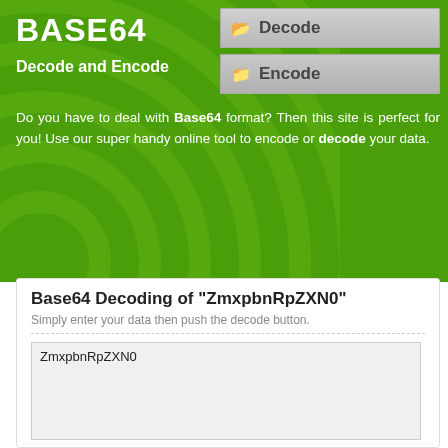BASE64
Decode and Encode
[Figure (screenshot): Decode navigation button with folder icon]
[Figure (screenshot): Encode navigation button with folder icon]
Do you have to deal with Base64 format? Then this site is perfect for you! Use our super handy online tool to encode or decode your data.
Base64 Decoding of "ZmxpbnRpZXN0"
Simply enter your data then push the decode button.
ZmxpbnRpZXN0